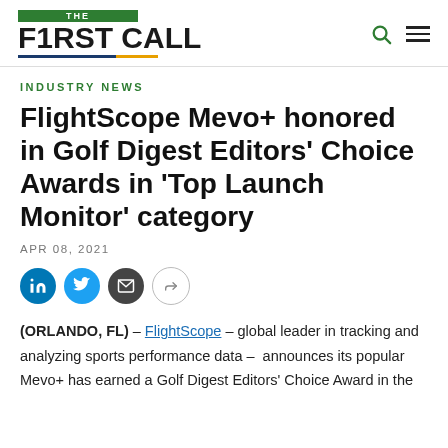THE F1RST CALL
INDUSTRY NEWS
FlightScope Mevo+ honored in Golf Digest Editors' Choice Awards in 'Top Launch Monitor' category
APR 08, 2021
[Figure (other): Social sharing buttons: LinkedIn, Twitter, Email, Share]
(ORLANDO, FL) – FlightScope – global leader in tracking and analyzing sports performance data – announces its popular Mevo+ has earned a Golf Digest Editors' Choice Award in the